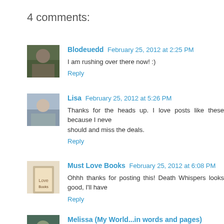4 comments:
Blodeuedd  February 25, 2012 at 2:25 PM
I am rushing over there now! :)
Reply
Lisa  February 25, 2012 at 5:26 PM
Thanks for the heads up. I love posts like these because I never should and miss the deals.
Reply
Must Love Books  February 25, 2012 at 6:08 PM
Ohhh thanks for posting this! Death Whispers looks good, I'll have
Reply
Melissa (My World...in words and pages)  February 26, 2012 at